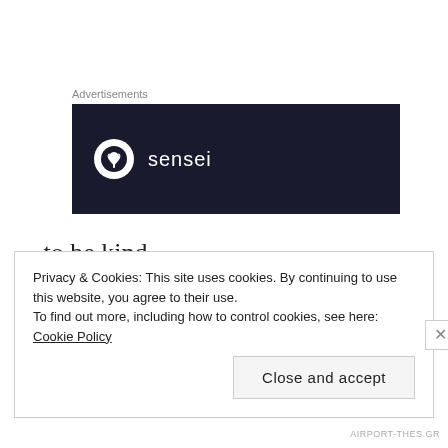Advertisements
[Figure (logo): Sensei advertisement banner — dark navy background with a white circle containing a tree/bonsai icon and the word 'sensei' in white text]
– to be kind
– to not be scared to ask questions and keep being curious about life!
Privacy & Cookies: This site uses cookies. By continuing to use this website, you agree to their use. To find out more, including how to control cookies, see here: Cookie Policy
Close and accept